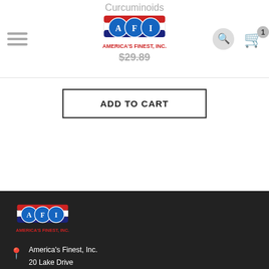Curcuminoids
[Figure (logo): America's Finest, Inc. logo with AFI in blue circles and red/white/blue banner]
$29.89
ADD TO CART
[Figure (logo): America's Finest, Inc. footer logo]
America's Finest, Inc.
20 Lake Drive
East Windsor
NJ 08520, USA
+1 800 350 3305
+1 732 985 9851